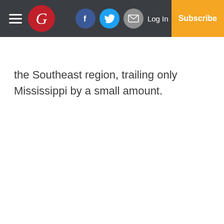Navigation bar with hamburger menu, G logo, social icons (Facebook, Twitter, Email), Log In, Subscribe
the Southeast region, trailing only Mississippi by a small amount.